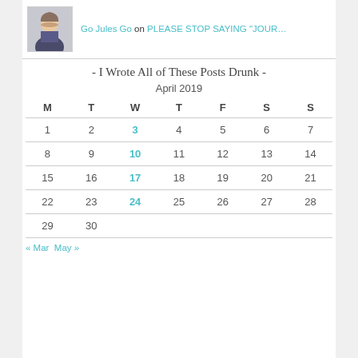Go Jules Go on PLEASE STOP SAYING "JOUR…"
- I Wrote All of These Posts Drunk -
| M | T | W | T | F | S | S |
| --- | --- | --- | --- | --- | --- | --- |
| 1 | 2 | 3 | 4 | 5 | 6 | 7 |
| 8 | 9 | 10 | 11 | 12 | 13 | 14 |
| 15 | 16 | 17 | 18 | 19 | 20 | 21 |
| 22 | 23 | 24 | 25 | 26 | 27 | 28 |
| 29 | 30 |  |  |  |  |  |
« Mar  May »